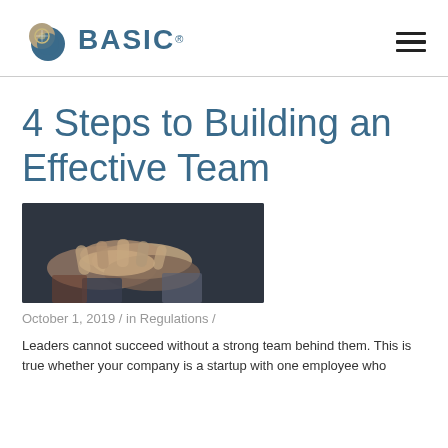BASIC®
4 Steps to Building an Effective Team
[Figure (photo): Overhead photo of multiple people's hands joined together in a team gesture, dark moody background]
October 1, 2019 / in Regulations /
Leaders cannot succeed without a strong team behind them. This is true whether your company is a startup with one employee who